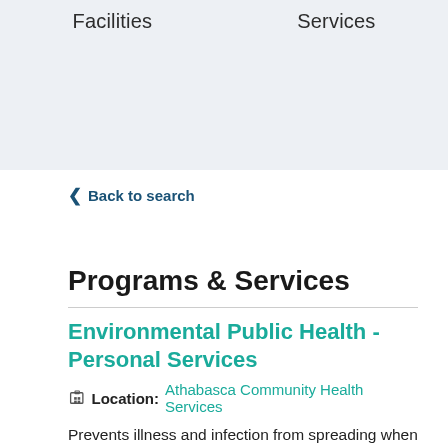Facilities    Services
< Back to search
Programs & Services
Environmental Public Health - Personal Services
Location: Athabasca Community Health Services
Prevents illness and infection from spreading when people have personal services like tattoos, piercings, massage, or esthetic services (e.g., manicures,